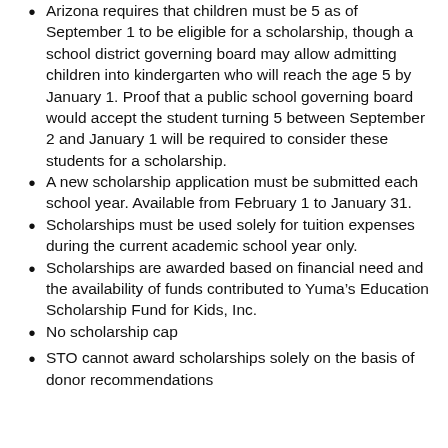Arizona requires that children must be 5 as of September 1 to be eligible for a scholarship, though a school district governing board may allow admitting children into kindergarten who will reach the age 5 by January 1. Proof that a public school governing board would accept the student turning 5 between September 2 and January 1 will be required to consider these students for a scholarship.
A new scholarship application must be submitted each school year. Available from February 1 to January 31.
Scholarships must be used solely for tuition expenses during the current academic school year only.
Scholarships are awarded based on financial need and the availability of funds contributed to Yuma's Education Scholarship Fund for Kids, Inc.
No scholarship cap
STO cannot award scholarships solely on the basis of donor recommendations